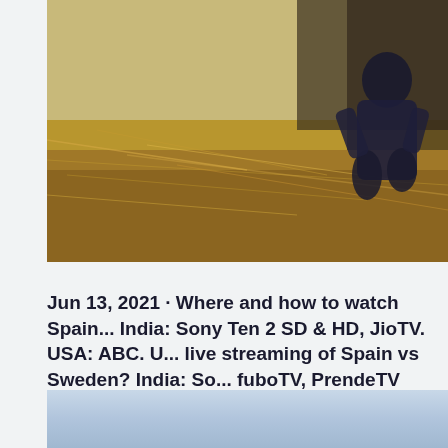[Figure (photo): Person crouching on dry straw/grass ground outdoors, wearing dark clothing]
Jun 13, 2021 · Where and how to watch Spain... India: Sony Ten 2 SD & HD, JioTV. USA: ABC. U... live streaming of Spain vs Sweden? India: So... fuboTV, PrendeTV
It all kicks off today (Friday, June 11) at 8 p.m. BST (3 p...
[Figure (photo): Light blue gradient background, partial view of another image]